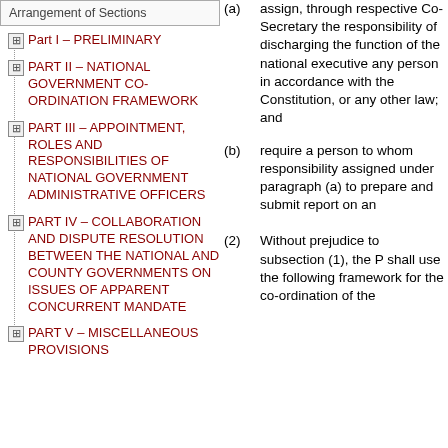Arrangement of Sections
Part I – PRELIMINARY
Part II – NATIONAL GOVERNMENT CO-ORDINATION FRAMEWORK
Part III – APPOINTMENT, ROLES AND RESPONSIBILITIES OF NATIONAL GOVERNMENT ADMINISTRATIVE OFFICERS
Part IV – COLLABORATION AND DISPUTE RESOLUTION BETWEEN THE NATIONAL AND COUNTY GOVERNMENTS ON ISSUES OF APPARENT CONCURRENT MANDATE
Part V – MISCELLANEOUS PROVISIONS
(a) assign, through respective Co-Secretary the responsibility of discharging the function of the national executive any person in accordance with the Constitution, or any other law; and
(b) require a person to whom responsibility assigned under paragraph (a) to prepare and submit report on an
(2) Without prejudice to subsection (1), the P shall use the following framework for the co-ordination of the